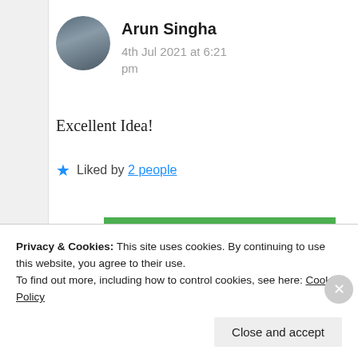Arun Singha
4th Jul 2021 at 6:21 pm
Excellent Idea!
★ Liked by 2 people
Suma Reddy
Privacy & Cookies: This site uses cookies. By continuing to use this website, you agree to their use.
To find out more, including how to control cookies, see here: Cookie Policy
Close and accept